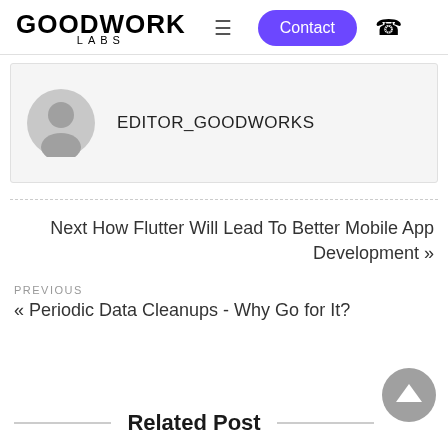GOODWORK LABS
[Figure (other): Author profile card with avatar icon and username EDITOR_GOODWORKS]
Next How Flutter Will Lead To Better Mobile App Development »
PREVIOUS
« Periodic Data Cleanups - Why Go for It?
Related Post